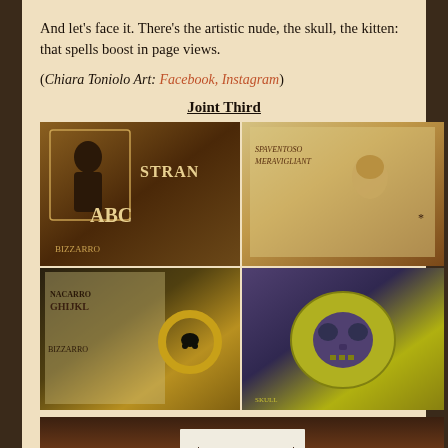And let's face it. There's the artistic nude, the skull, the kitten: that spells boost in page views.
(Chiara Toniolo Art: Facebook, Instagram)
Joint Third
[Figure (photo): A 2x2 grid of vintage-style photographs showing antique typography/lettering prints, a portrait illustration, a skull ring/jewelry piece, and a skull-shaped object on purple background]
[Figure (photo): Bottom partial photo showing a dark wooden surface with a white card/paper containing asterisk symbols]